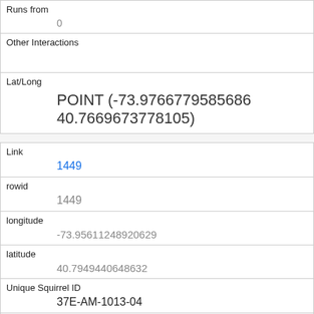| Runs from | 0 |
| Other Interactions |  |
| Lat/Long | POINT (-73.9766779585686 40.7669673778105) |
| Link | 1449 |
| rowid | 1449 |
| longitude | -73.95611248920629 |
| latitude | 40.7949440648632 |
| Unique Squirrel ID | 37E-AM-1013-04 |
| Hectare | 37E |
| Shift |  |